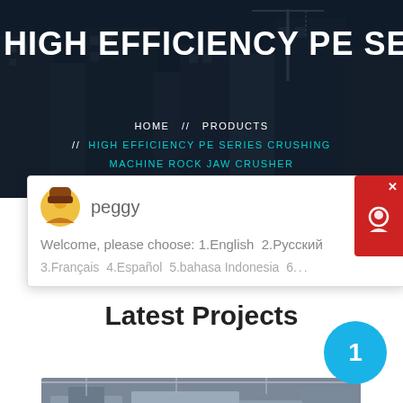[Figure (photo): Dark-tinted hero background showing construction site with cranes and buildings]
HIGH EFFICIENCY PE SERIES CR
HOME // PRODUCTS // HIGH EFFICIENCY PE SERIES CRUSHING MACHINE ROCK JAW CRUSHER
[Figure (screenshot): Chat popup with avatar of peggy, message: Welcome, please choose: 1.English 2.Русский 3.Français 4.Español 5.bahasa Indonesia 6...]
Latest Projects
[Figure (photo): Industrial crushing/screening machinery in a factory or quarry setting]